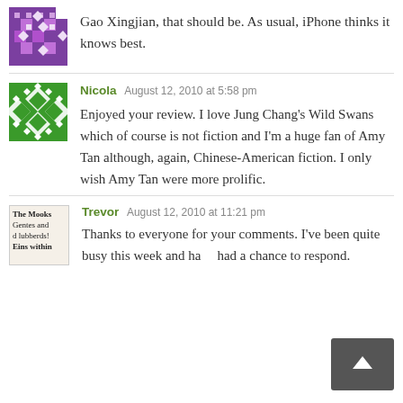Gao Xingjian, that should be. As usual, iPhone thinks it knows best.
Nicola  August 12, 2010 at 5:58 pm
Enjoyed your review. I love Jung Chang's Wild Swans which of course is not fiction and I'm a huge fan of Amy Tan although, again, Chinese-American fiction. I only wish Amy Tan were more prolific.
Trevor  August 12, 2010 at 11:21 pm
Thanks to everyone for your comments. I've been quite busy this week and have had a chance to respond.